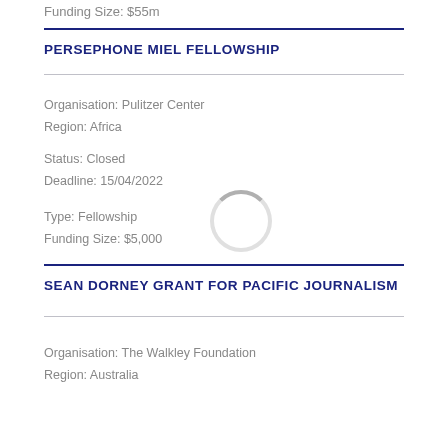Funding Size: $55m
PERSEPHONE MIEL FELLOWSHIP
Organisation: Pulitzer Center
Region: Africa
Status: Closed
Deadline: 15/04/2022
Type: Fellowship
Funding Size: $5,000
SEAN DORNEY GRANT FOR PACIFIC JOURNALISM
Organisation: The Walkley Foundation
Region: Australia